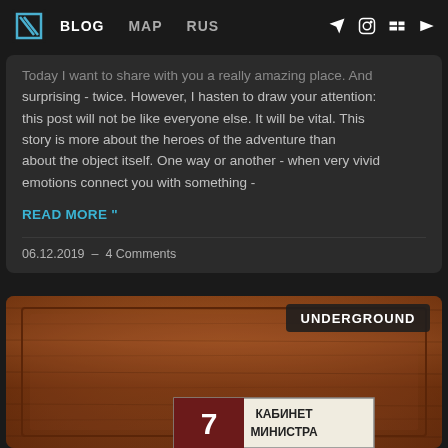BLOG  MAP  RUS
Today I want to share with you a really amazing place. And surprising - twice. However, I hasten to draw your attention: this post will not be like everyone else. It will be vital. This story is more about the heroes of the adventure than about the object itself. One way or another - when very vivid emotions connect you with something -
READ MORE "
06.12.2019  –  4 Comments
[Figure (photo): Photo of a wooden door panel with a sign showing number 7 and Cyrillic text КАБИНЕТ МИНИСТРА, with an UNDERGROUND badge overlay in the top right corner]